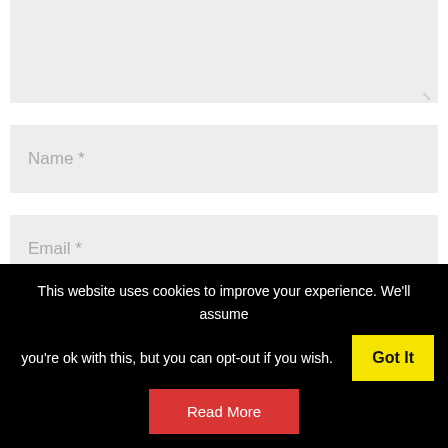[Figure (screenshot): Textarea input field with light gray background and resize handle at bottom right]
Name *
Email *
Website
Save my name, email, and website in this browser
This website uses cookies to improve your experience. We'll assume you're ok with this, but you can opt-out if you wish. Got It
Read More